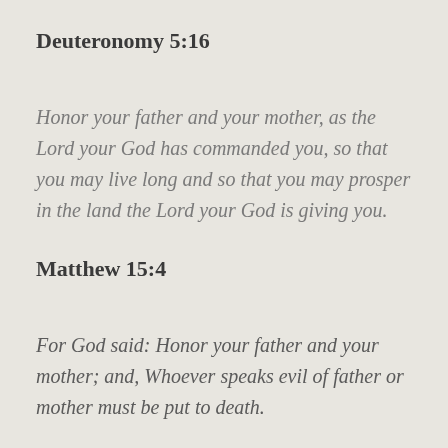Deuteronomy 5:16
Honor your father and your mother, as the Lord your God has commanded you, so that you may live long and so that you may prosper in the land the Lord your God is giving you.
Matthew 15:4
For God said: Honor your father and your mother; and, Whoever speaks evil of father or mother must be put to death.
Mothers are to teach their children when